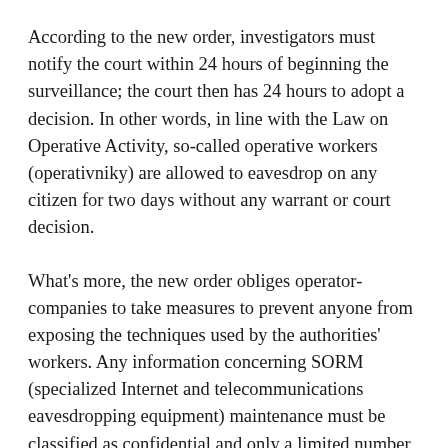According to the new order, investigators must notify the court within 24 hours of beginning the surveillance; the court then has 24 hours to adopt a decision. In other words, in line with the Law on Operative Activity, so-called operative workers (operativniky) are allowed to eavesdrop on any citizen for two days without any warrant or court decision.
What's more, the new order obliges operator-companies to take measures to prevent anyone from exposing the techniques used by the authorities' workers. Any information concerning SORM (specialized Internet and telecommunications eavesdropping equipment) maintenance must be classified as confidential and only a limited number